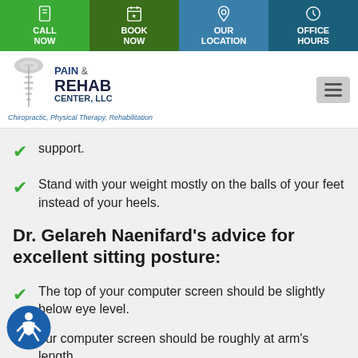CALL NOW | BOOK NOW | OUR LOCATION | OFFICE HOURS
[Figure (logo): Pain & Rehab Center, LLC logo with tagline: Chiropractic, Physical Therapy, Rehabilitation]
support.
Stand with your weight mostly on the balls of your feet instead of your heels.
Dr. Gelareh Naenifard’s advice for excellent sitting posture:
The top of your computer screen should be slightly below eye level.
Your computer screen should be roughly at arm’s length.
Bring your shoulders up, then gently back down.